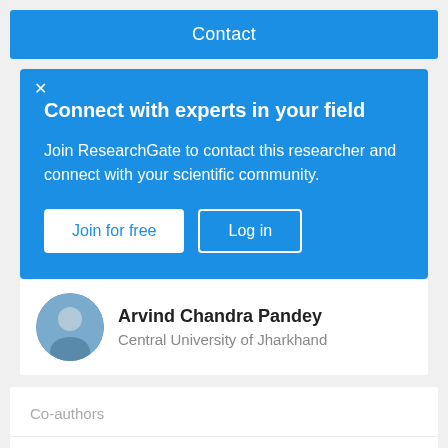Contact
Connect with experts in your field
Join ResearchGate to contact this researcher and connect with your scientific community.
Join for free   Log in
Arvind Chandra Pandey
Central University of Jharkhand
Co-authors
Top co-authors
Mike Johnson